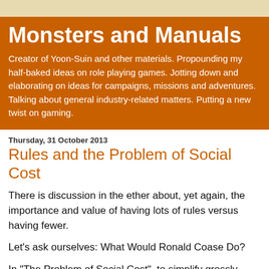Monsters and Manuals
Creator of Yoon-Suin and other materials. Propounding my half-baked ideas on role playing games. Jotting down and elaborating on ideas for campaigns, missions and adventures. Talking about general industry-related matters. Putting a new twist on gaming.
Thursday, 31 October 2013
Rules and the Problem of Social Cost
There is discussion in the ether about, yet again, the importance and value of having lots of rules versus having fewer.
Let's ask ourselves: What Would Ronald Coase Do?
In "The Problem of Social Cost", to simplify grossly, Coase observed that if the world was perfectly free of transaction